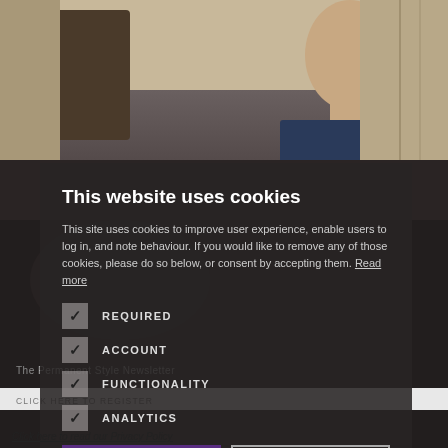[Figure (photo): Background photo of a man in a suit sitting in an ornate room, partially obscured by the cookie consent modal overlay]
This website uses cookies
This site uses cookies to improve user experience, enable users to log in, and note behaviour. If you would like to remove any of those cookies, please do so below, or consent by accepting them. Read more
REQUIRED
ACCOUNT
FUNCTIONALITY
ANALYTICS
ACCEPT ALL
DECLINE ALL
Click here to read our Privacy Policy